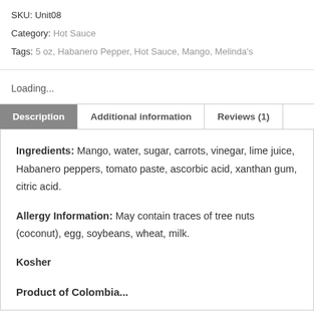SKU: Unit08
Category: Hot Sauce
Tags: 5 oz, Habanero Pepper, Hot Sauce, Mango, Melinda's
Loading...
Description | Additional information | Reviews (1)
Ingredients: Mango, water, sugar, carrots, vinegar, lime juice, Habanero peppers, tomato paste, ascorbic acid, xanthan gum, citric acid.
Allergy Information: May contain traces of tree nuts (coconut), egg, soybeans, wheat, milk.
Kosher